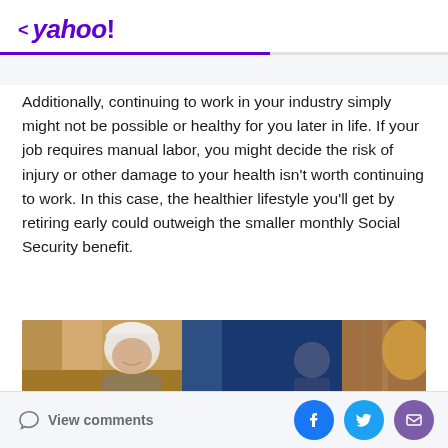< yahoo!
Additionally, continuing to work in your industry simply might not be possible or healthy for you later in life. If your job requires manual labor, you might decide the risk of injury or other damage to your health isn't worth continuing to work. In this case, the healthier lifestyle you'll get by retiring early could outweigh the smaller monthly Social Security benefit.
[Figure (photo): Elderly woman with white/silver hair smiling, with blurred background showing other people in what appears to be a workshop or store setting]
View comments